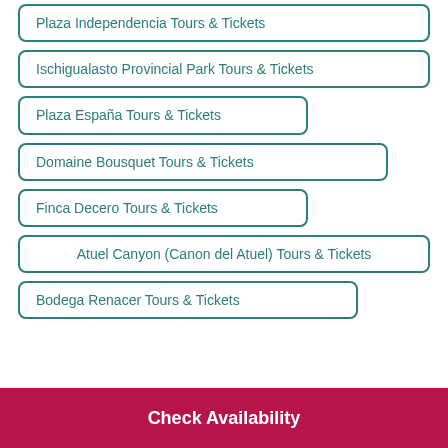Plaza Independencia Tours & Tickets
Ischigualasto Provincial Park Tours & Tickets
Plaza España Tours & Tickets
Domaine Bousquet Tours & Tickets
Finca Decero Tours & Tickets
Atuel Canyon (Canon del Atuel) Tours & Tickets
Bodega Renacer Tours & Tickets
Check Availability